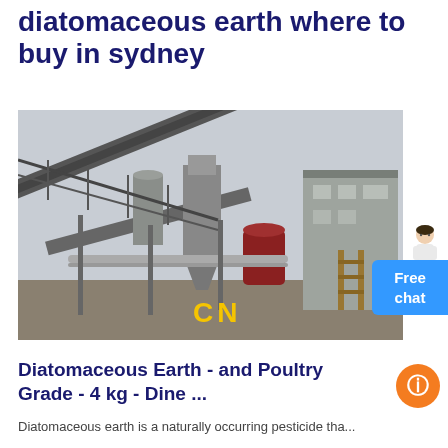diatomaceous earth where to buy in sydney
[Figure (photo): Industrial mining or mineral processing facility with conveyor belts, metal framework, silos, and processing equipment. Yellow 'CN' watermark in lower center.]
Diatomaceous Earth - and Poultry Grade - 4 kg - Dine ...
Diatomaceous earth is a naturally occurring pesticide that...